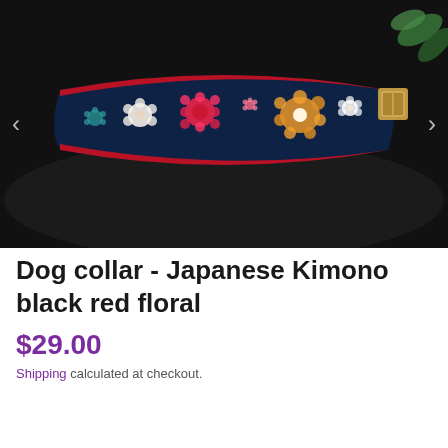[Figure (photo): A Japanese Kimono-style dog collar with black background and colorful red, white, pink, and orange floral pattern, with a red border and gold buckle, photographed on a dark surface with navigation arrows on left and right sides.]
Dog collar - Japanese Kimono black red floral
$29.00
Shipping calculated at checkout.